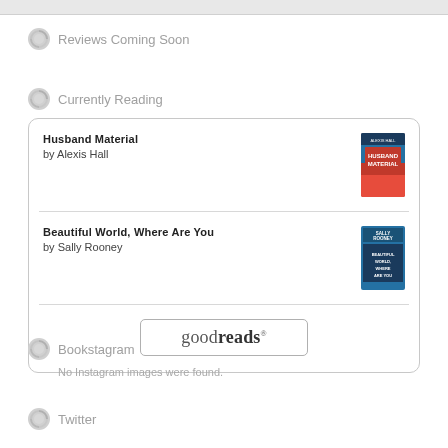Reviews Coming Soon
Currently Reading
Husband Material
by Alexis Hall
Beautiful World, Where Are You
by Sally Rooney
[Figure (logo): goodreads button/logo with rounded rectangle border]
Bookstagram
No Instagram images were found.
Twitter